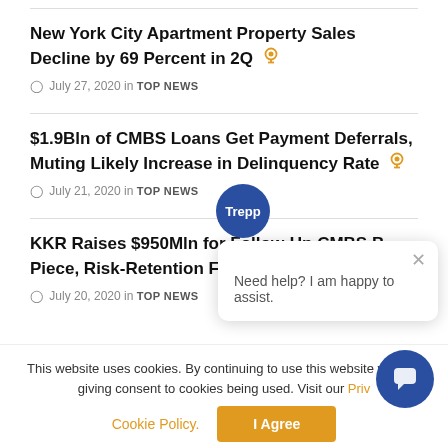New York City Apartment Property Sales Decline by 69 Percent in 2Q — July 27, 2020 in TOP NEWS
$1.9Bln of CMBS Loans Get Payment Deferrals, Muting Likely Increase in Delinquency Rate — July 21, 2020 in TOP NEWS
KKR Raises $950Mln for Follow-Up CMBS B-Piece, Risk-Retention Fund — July 20, 2020 in TOP NEWS
This website uses cookies. By continuing to use this website you are giving consent to cookies being used. Visit our Privacy Policy.
Cookie Policy. | I Agree